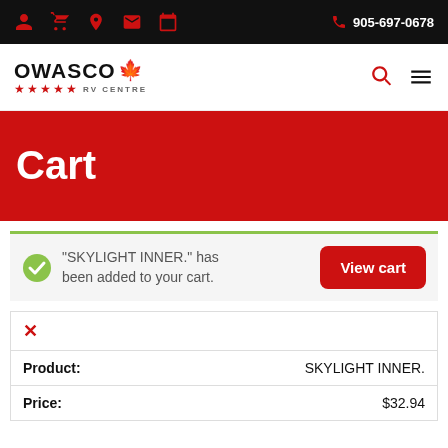905-697-0678
[Figure (logo): Owasco RV Centre logo with red maple leaf and five red stars]
Cart
“SKYLIGHT INNER.” has been added to your cart.
View cart
|  |  |
| Product: | SKYLIGHT INNER. |
| Price: | $32.94 |